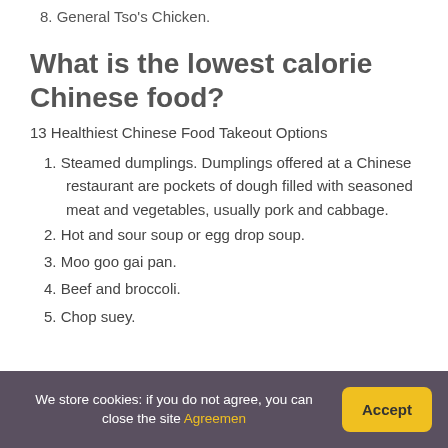8. General Tso’s Chicken.
What is the lowest calorie Chinese food?
13 Healthiest Chinese Food Takeout Options
1. Steamed dumplings. Dumplings offered at a Chinese restaurant are pockets of dough filled with seasoned meat and vegetables, usually pork and cabbage.
2. Hot and sour soup or egg drop soup.
3. Moo goo gai pan.
4. Beef and broccoli.
5. Chop suey.
We store cookies: if you do not agree, you can close the site Agreemen  Accept